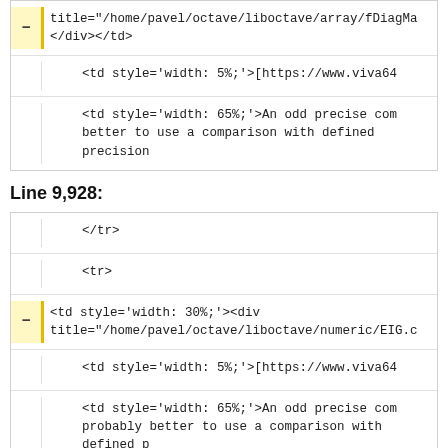title="/home/pavel/octave/liboctave/array/fDiagMa
</div></td>
<td style='width: 5%;'>[https://www.viva64
<td style='width: 65%;'>An odd precise com better to use a comparison with defined precision
Line 9,928:
</tr>
<tr>
<td style='width: 30%;'><div
title="/home/pavel/octave/liboctave/numeric/EIG.c
<td style='width: 5%;'>[https://www.viva64
<td style='width: 65%;'>An odd precise com probably better to use a comparison with defined p Epsilon.</td>
</tr>